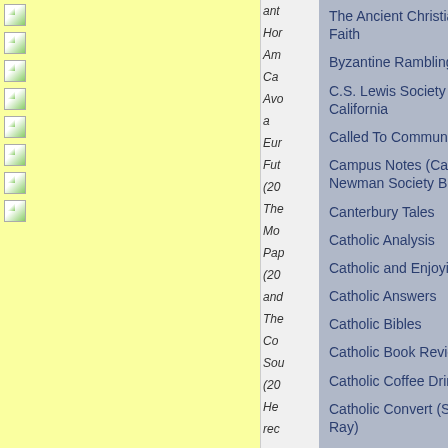[Figure (screenshot): Yellow left column with file/document icons arranged vertically, each with a small icon image placeholder]
ant
Hor
Am
Ca
Avo
a
Eur
Fut
(20
The
Mo
Pap
(20
and
The
Com
Sou
(20
He
rec
spo
with
Ca
Wo
The Ancient Christian Faith
Byzantine Ramblings
C.S. Lewis Society of California
Called To Communion
Campus Notes (Cardinal Newman Society Blog)
Canterbury Tales
Catholic Analysis
Catholic and Enjoying It!
Catholic Answers
Catholic Bibles
Catholic Book Reviews
Catholic Coffee Drinkers
Catholic Convert (Steve Ray)
Catholic Culture/Catholic World News